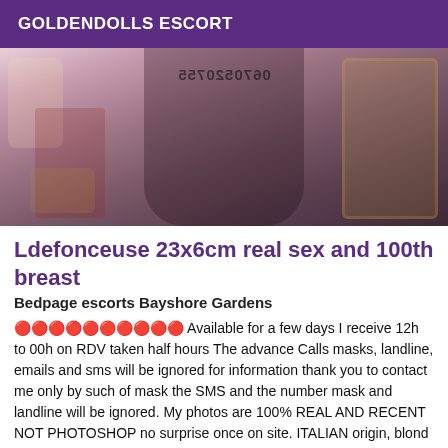GOLDENDOLLS ESCORT
[Figure (photo): A woman in black lingerie posing indoors with a chandelier and gold mirror visible. A watermark phone number appears mirrored across the image.]
Ldefonceuse 23x6cm real sex and 100th breast
Bedpage escorts Bayshore Gardens
🔴🔴🔴🔴🔴🔴🔴🔴🔴🔴 Available for a few days I receive 12h to 00h on RDV taken half hours The advance Calls masks, landline, emails and sms will be ignored for information thank you to contact me only by such of mask the SMS and the number mask and landline will be ignored. My photos are 100% REAL AND RECENT NOT PHOTOSHOP no surprise once on site. ITALIAN origin, blond hair, blue eyes I am 1.70cm for 75KG, chest 100$